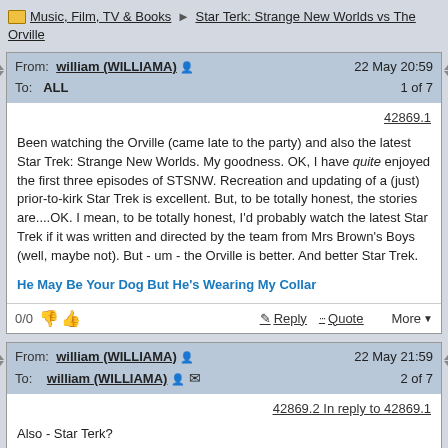Music, Film, TV & Books ▶ Star Terk: Strange New Worlds vs The Orville
From: william (WILLIAMA)  22 May 20:59
To: ALL  1 of 7

42869.1

Been watching the Orville (came late to the party) and also the latest Star Trek: Strange New Worlds. My goodness. OK, I have quite enjoyed the first three episodes of STSNW. Recreation and updating of a (just) prior-to-kirk Star Trek is excellent. But, to be totally honest, the stories are....OK. I mean, to be totally honest, I'd probably watch the latest Star Trek if it was written and directed by the team from Mrs Brown's Boys (well, maybe not). But - um - the Orville is better. And better Star Trek.

He May Be Your Dog But He's Wearing My Collar

0/0  Reply  Quote  More
From: william (WILLIAMA)  22 May 21:59
To: william (WILLIAMA)  2 of 7

42869.2 In reply to 42869.1

Also - Star Terk?

He May Be Your Dog But He's Wearing My Collar